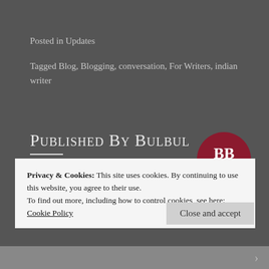Posted in Updates
Tagged Blog, Blogging, conversation, For Writers, indian writer
Published by Bulbul
[Figure (logo): Circular dark red logo with 'BB' letters and text 'Bulbuls Bubble']
A young writer from India who has loved stories since she was able to understand
Privacy & Cookies: This site uses cookies. By continuing to use this website, you agree to their use. To find out more, including how to control cookies, see here: Cookie Policy
Close and accept